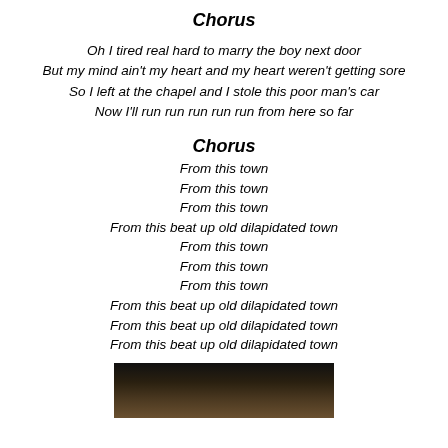Chorus
Oh I tired real hard to marry the boy next door
But my mind ain't my heart and my heart weren't getting sore
So I left at the chapel and I stole this poor man's car
Now I'll run run run run run from here so far
Chorus
From this town
From this town
From this town
From this beat up old dilapidated town
From this town
From this town
From this town
From this beat up old dilapidated town
From this beat up old dilapidated town
From this beat up old dilapidated town
[Figure (photo): Dark photograph at bottom of page, partially visible, showing outdoor scene]